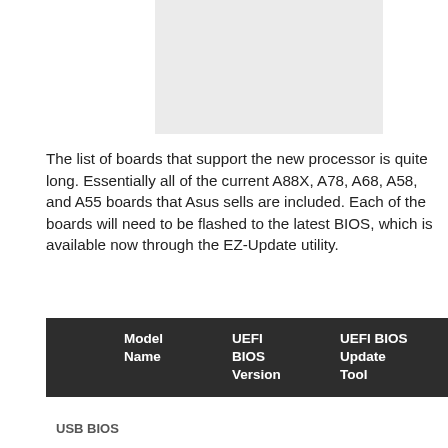[Figure (other): Gray placeholder image box at the top center of the page]
The list of boards that support the new processor is quite long. Essentially all of the current A88X, A78, A68, A58, and A55 boards that Asus sells are included. Each of the boards will need to be flashed to the latest BIOS, which is available now through the EZ-Update utility.
|  | Model Name | UEFI BIOS Version | UEFI BIOS Update Tool | Graphics Driver Version |
| --- | --- | --- | --- | --- |
| USB BIOS |  |  |  |  |
USB BIOS